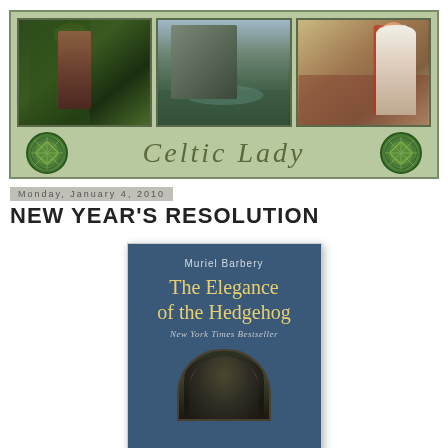[Figure (illustration): Celtic Lady blog header banner with three photos (medieval fairy painting, Irish castle landscape, Pre-Raphaelite woman in white dress), Celtic knot emblems on left and right, and 'Celtic Lady' text in italic green serif font on sage green background]
Monday, January 4, 2010
NEW YEAR'S RESOLUTION
[Figure (illustration): Book cover of 'The Elegance of the Hedgehog' by Muriel Barbery, New York Times Bestseller, with blue background and dark ornate door arch at bottom]